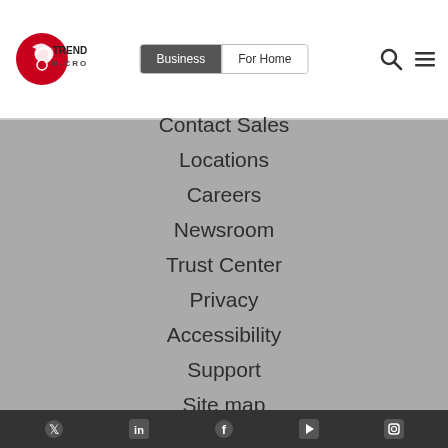[Figure (logo): Trend Micro logo with red circular icon and TREND MICRO text]
Business | For Home
Contact Sales
Locations
Careers
Newsroom
Trust Center
Privacy
Accessibility
Support
Site map
Social media icons row